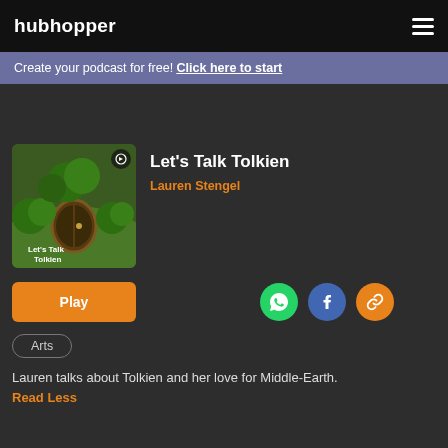hubhopper
Create your podcast for free! Click here to start
Let's Talk Tolkien
Lauren Stengel
[Figure (illustration): Podcast album art showing a hobbit hole door with green surroundings and text 'Let's Talk Tolkien']
Play
Arts
Lauren talks about Tolkien and her love for Middle-Earth.
Read Less